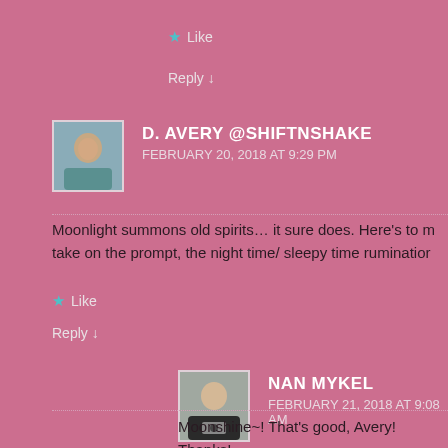Like
Reply ↓
D. AVERY @SHIFTNSHAKE
FEBRUARY 20, 2018 AT 9:29 PM
Moonlight summons old spirits… it sure does. Here's to my take on the prompt, the night time/ sleepy time rumination
Like
Reply ↓
NAN MYKEL
FEBRUARY 21, 2018 AT 9:08 AM
Moonshine~! That's good, Avery! Thanks!